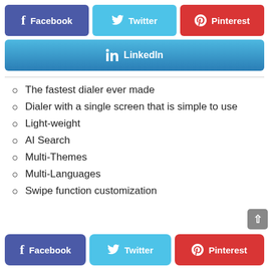[Figure (screenshot): Social share buttons row: Facebook (blue-purple), Twitter (cyan), Pinterest (red)]
[Figure (screenshot): LinkedIn share button (blue gradient), full width]
The fastest dialer ever made
Dialer with a single screen that is simple to use
Light-weight
AI Search
Multi-Themes
Multi-Languages
Swipe function customization
[Figure (screenshot): Bottom social share buttons row: Facebook (blue-purple), Twitter (cyan), Pinterest (red), with scroll-to-top arrow]